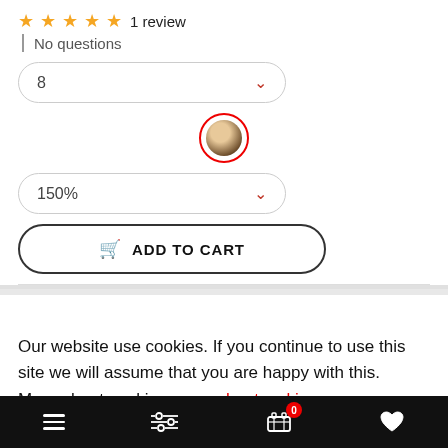★★★★★ 1 review
| No questions
[Figure (screenshot): Dropdown select showing value '8' with red chevron arrow]
[Figure (illustration): Color swatch circle with red border showing a dark brown/tan hair color]
[Figure (screenshot): Dropdown select showing '150%' with red chevron arrow]
[Figure (screenshot): Add to cart button with shopping cart icon]
Our website use cookies. If you continue to use this site we will assume that you are happy with this. More about cookies: www.aboutcookies.org
[Figure (screenshot): ACCEPT COOKIES red button partially visible]
Bottom navigation bar with hamburger menu, filter icon, cart with badge 0, and heart icon